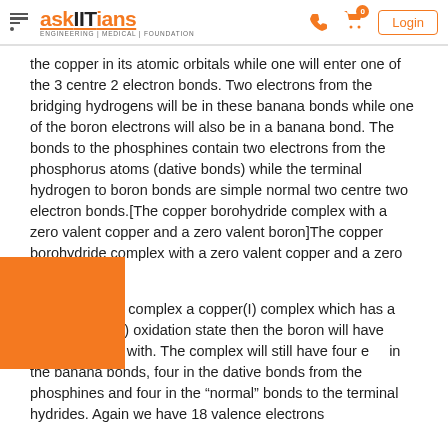askIITians – ENGINEERING | MEDICAL | FOUNDATION
the copper in its atomic orbitals while one will enter one of the 3 centre 2 electron bonds. Two electrons from the bridging hydrogens will be in these banana bonds while one of the boron electrons will also be in a banana bond. The bonds to the phosphines contain two electrons from the phosphorus atoms (dative bonds) while the terminal hydrogen to boron bonds are simple normal two centre two electron bonds.[The copper borohydride complex with a zero valent copper and a zero valent boron]The copper borohydride complex with a zero valent copper and a zero valent boron
If we make the complex a copper(I) complex which has a boron in the (-I) oxidation state then the boron will have f rons to start with. The complex will still have four e in the banana bonds, four in the dative bonds from the phosphines and four in the "normal" bonds to the terminal hydrides. Again we have 18 valence electrons